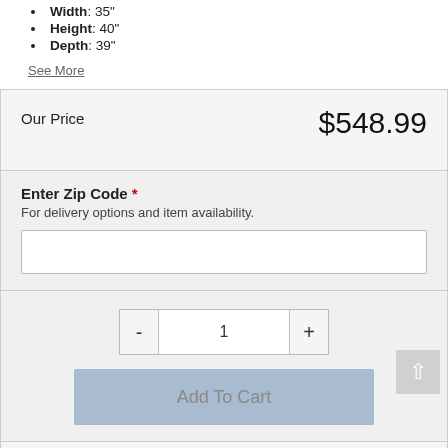Width: 35
Height: 40"
Depth: 39"
See More
Our Price    $548.99
Enter Zip Code *
For delivery options and item availability.
1
Add To Cart
Share This Item